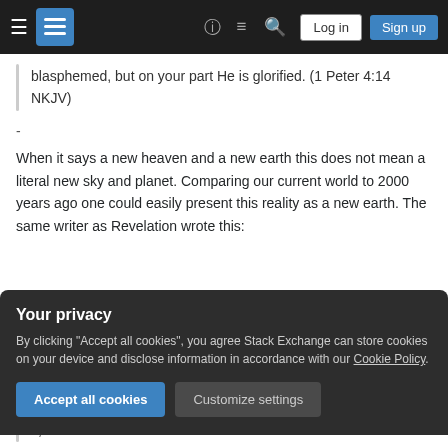Stack Exchange navigation bar with Log in and Sign up buttons
blasphemed, but on your part He is glorified. (1 Peter 4:14 NKJV)
-
When it says a new heaven and a new earth this does not mean a literal new sky and planet. Comparing our current world to 2000 years ago one could easily present this reality as a new earth. The same writer as Revelation wrote this:
Your privacy
By clicking "Accept all cookies", you agree Stack Exchange can store cookies on your device and disclose information in accordance with our Cookie Policy.
Accept all cookies   Customize settings
it; but he who does the will of God abides